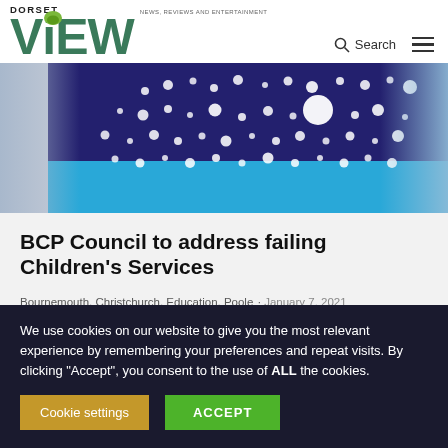DORSET ViEW — NEWS, REVIEWS AND ENTERTAINMENT
[Figure (photo): Hero image showing a dark purple background with white polka dots pattern and blue section, partially blurred on edges]
BCP Council to address failing Children's Services
Bournemouth, Christchurch, Education, Poole · January 7, 2021
We use cookies on our website to give you the most relevant experience by remembering your preferences and repeat visits. By clicking "Accept", you consent to the use of ALL the cookies.